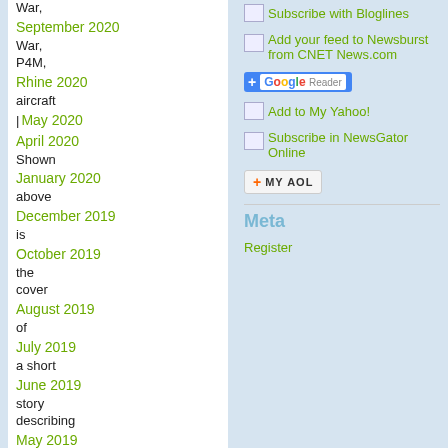War,
September 2020
War,
P4M,
Rhine 2020
aircraft
| May 2020
April 2020
Shown
January 2020
above
December 2019
is
October 2019
the
cover
August 2019
of
July 2019
a short
June 2019
story
describing
May 2019
a
April 2019
patrol
flight
March 2019
being
February 2019
flown
during
January 2019
the
[Figure (other): Subscribe with Bloglines icon button]
Subscribe with Bloglines
[Figure (other): Add your feed to Newsburst from CNET News.com icon button]
Add your feed to Newsburst from CNET News.com
[Figure (other): Google Reader subscribe button]
[Figure (other): Add to My Yahoo! icon button]
Add to My Yahoo!
[Figure (other): Subscribe in NewsGator Online icon button]
Subscribe in NewsGator Online
[Figure (other): Add to My AOL button]
Meta
Register